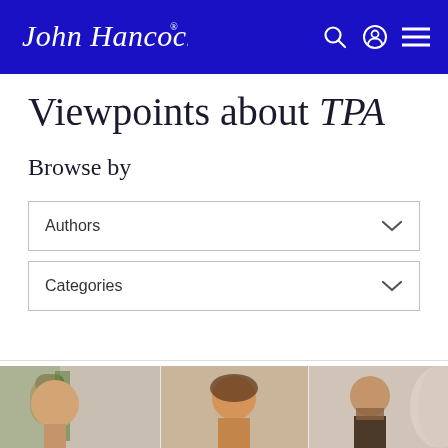John Hancock — navigation header with search, account, and menu icons
Viewpoints about TPA
Browse by
Authors
Categories
[Figure (photo): Three-panel photo strip showing business professionals in conversation settings]